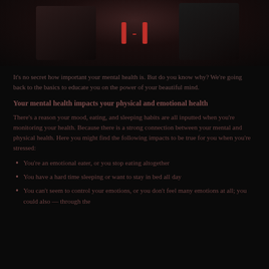[Figure (photo): Dark background photo showing two figures or subjects, partially visible, with a red play button overlay in the center]
It's no secret how important your mental health is. But do you know why? We're going back to the basics to educate you on the power of your beautiful mind.
Your mental health impacts your physical and emotional health
There's a reason your mood, eating, and sleeping habits are all inputted when you're monitoring your health. Because there is a strong connection between your mental and physical health. Here you might find the following impacts to be true for you when you're stressed:
You're an emotional eater, or you stop eating altogether
You have a hard time sleeping or want to stay in bed all day
You can't seem to control your emotions, or you don't feel many emotions at all; you could also — through the